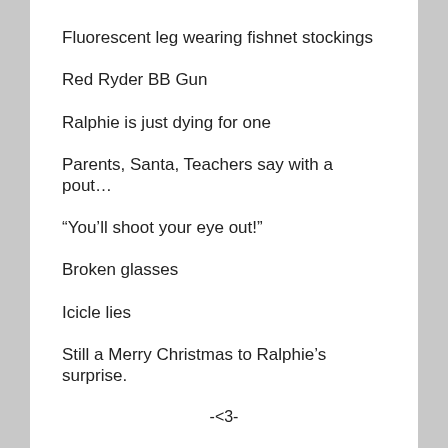Fluorescent leg wearing fishnet stockings
Red Ryder BB Gun
Ralphie is just dying for one
Parents, Santa, Teachers say with a pout…
“You’ll shoot your eye out!”
Broken glasses
Icicle lies
Still a Merry Christmas to Ralphie’s surprise.
-<3-